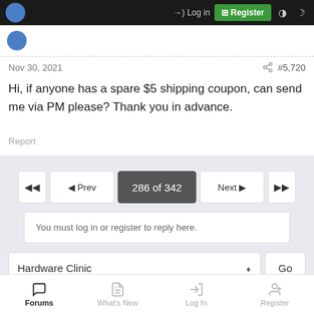Log in  Register
Nov 30, 2021  #5,720
Hi, if anyone has a spare $5 shipping coupon, can send me via PM please? Thank you in advance.
Report
◄◄   ◄ Prev   286 of 342   Next ►   ►►
You must log in or register to reply here.
Hardware Clinic   Go
Share:
Forums   What's New   Log In   Register